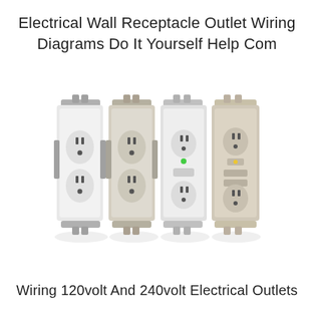Electrical Wall Receptacle Outlet Wiring Diagrams Do It Yourself Help Com
[Figure (photo): Four electrical wall receptacle outlets lined up side by side: a standard white duplex outlet, a beige/tan duplex outlet, a white GFCI outlet with green indicator light, and a beige GFCI outlet with test/reset buttons and indicator light. All have mounting brackets visible at top and bottom.]
Wiring 120volt And 240volt Electrical Outlets